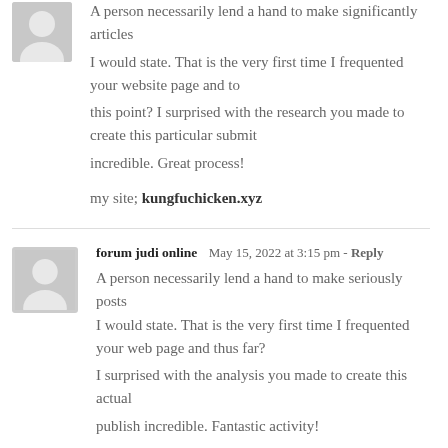A person necessarily lend a hand to make significantly articles I would state. That is the very first time I frequented your website page and to this point? I surprised with the research you made to create this particular submit incredible. Great process!

my site; kungfuchicken.xyz
forum judi online  May 15, 2022 at 3:15 pm - Reply

A person necessarily lend a hand to make seriously posts I would state. That is the very first time I frequented your web page and thus far? I surprised with the analysis you made to create this actual publish incredible. Fantastic activity!

my homepage; forum judi online